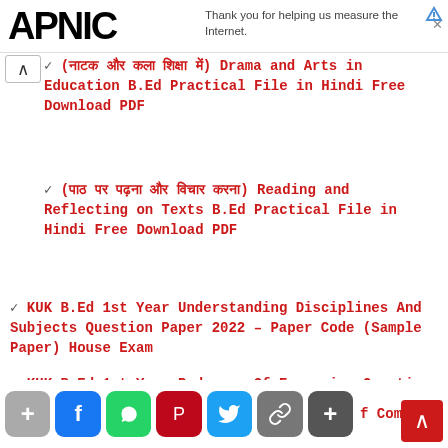APNIC | Thank you for helping us measure the Internet.
(नाटक और कला शिक्षा में) Drama and Arts in Education B.Ed Practical File in Hindi Free Download PDF
(पाठ पर पढ़ना और विचार करना) Reading and Reflecting on Texts B.Ed Practical File in Hindi Free Download PDF
KUK B.Ed 1st Year Understanding Disciplines And Subjects Question Paper 2022 - Paper Code (Sample Paper) House Exam
KUK B.Ed 1st Year Pedagogy Of Economics Question Paper 2022 - Paper Code (Sample Paper) House Exam
+ f WhatsApp Pinterest Twitter Link + f Commerce